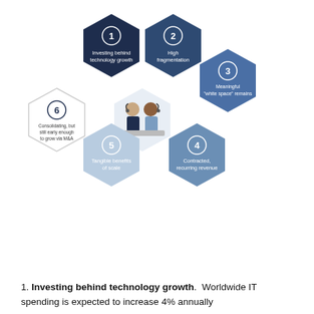[Figure (infographic): Six hexagons arranged in a honeycomb pattern around a central illustration of two people with headsets. Hexagon 1 (dark navy, top-left): '1 Investing behind technology growth'. Hexagon 2 (medium navy, top-right): '2 High fragmentation'. Hexagon 3 (medium blue, right): '3 Meaningful "white space" remains'. Hexagon 4 (medium steel blue, bottom-right): '4 Contracted, recurring revenue'. Hexagon 5 (light blue, bottom-left): '5 Tangible benefits of scale'. Hexagon 6 (white/outline, left): '6 Consolidating, but still early enough to grow via M&A'. Center hexagon contains illustration of two customer service representatives.]
1. Investing behind technology growth. Worldwide IT spending is expected to increase 4% annually